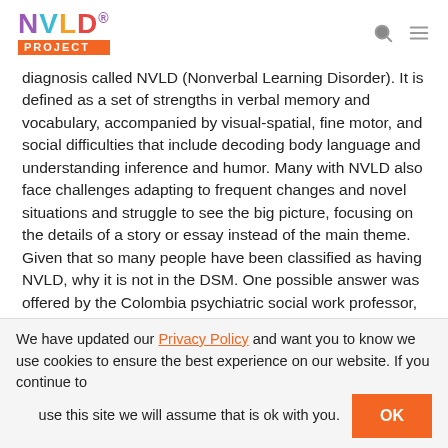NVLD PROJECT
diagnosis called NVLD (Nonverbal Learning Disorder). It is defined as a set of strengths in verbal memory and vocabulary, accompanied by visual-spatial, fine motor, and social difficulties that include decoding body language and understanding inference and humor. Many with NVLD also face challenges adapting to frequent changes and novel situations and struggle to see the big picture, focusing on the details of a story or essay instead of the main theme. Given that so many people have been classified as having NVLD, why it is not in the DSM. One possible answer was offered by the Colombia psychiatric social work professor, Dr. Prudence Fischer who
We have updated our Privacy Policy and want you to know we use cookies to ensure the best experience on our website. If you continue to use this site we will assume that is ok with you.